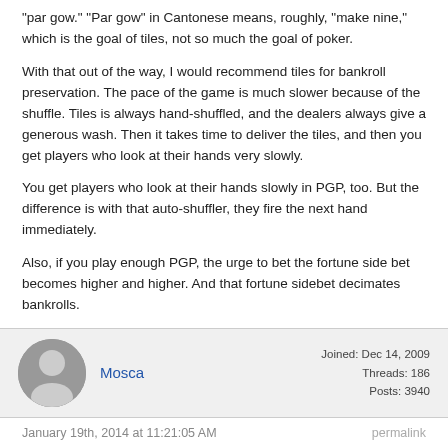"par gow." "Par gow" in Cantonese means, roughly, "make nine," which is the goal of tiles, not so much the goal of poker.
With that out of the way, I would recommend tiles for bankroll preservation. The pace of the game is much slower because of the shuffle. Tiles is always hand-shuffled, and the dealers always give a generous wash. Then it takes time to deliver the tiles, and then you get players who look at their hands very slowly.
You get players who look at their hands slowly in PGP, too. But the difference is with that auto-shuffler, they fire the next hand immediately.
Also, if you play enough PGP, the urge to bet the fortune side bet becomes higher and higher. And that fortune sidebet decimates bankrolls.
Mosca
Joined: Dec 14, 2009
Threads: 186
Posts: 3940
January 19th, 2014 at 11:21:05 AM
permalink